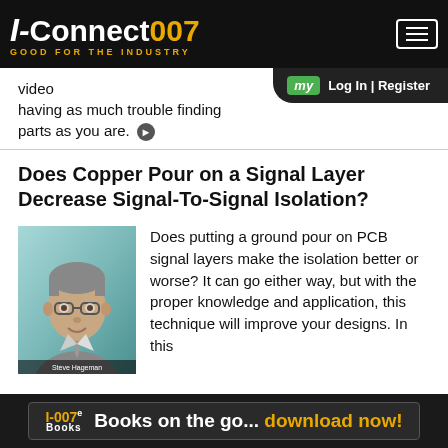I-Connect007 GOOD FOR THE INDUSTRY
video having as much trouble finding parts as you are.
Does Copper Pour on a Signal Layer Decrease Signal-To-Signal Isolation?
[Figure (photo): Headshot photo of Steve Hageman, a man wearing glasses and a suit jacket with tie, against a teal/blue-green background.]
Does putting a ground pour on PCB signal layers make the isolation better or worse? It can go either way, but with the proper knowledge and application, this technique will improve your designs. In this
I-007e Books  Books on the go... download now!